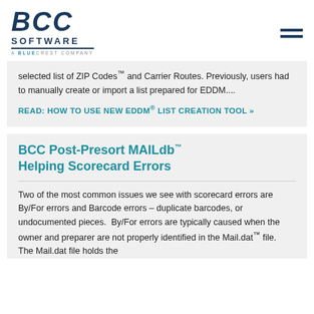[Figure (logo): BCC Software - A BlueCrest Company logo, dark navy blue italic bold text]
selected list of ZIP Codes™ and Carrier Routes. Previously, users had to manually create or import a list prepared for EDDM....
READ: HOW TO USE NEW EDDM® LIST CREATION TOOL »
BCC Post-Presort MAILdb™ Helping Scorecard Errors
Two of the most common issues we see with scorecard errors are By/For errors and Barcode errors – duplicate barcodes, or undocumented pieces.  By/For errors are typically caused when the owner and preparer are not properly identified in the Mail.dat™ file.  The Mail.dat file holds the